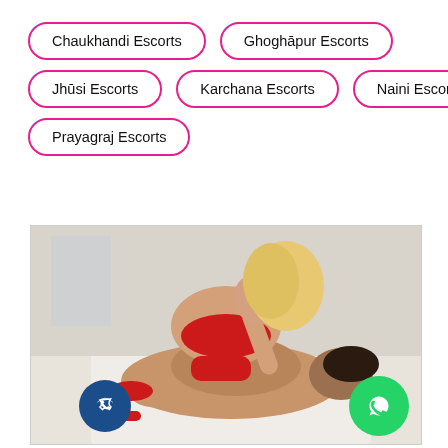Chaukhandi Escorts
Ghoghāpur Escorts
Jhūsi Escorts
Karchana Escorts
Naini Escorts
Prayagraj Escorts
[Figure (photo): A couple on a bed, woman in red bikini leaning over man, intimate scene. Blue phone call button bottom-left, green WhatsApp button bottom-right.]